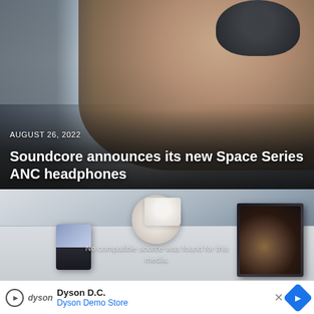[Figure (photo): Man wearing over-ear headphones sitting near airplane window, face in relaxed expression, dark background fading to lighter sky]
AUGUST 26, 2022
Soundcore announces its new Space Series ANC headphones
[Figure (photo): Foldable smartphones and a coffee cup on an airplane tray table, with a tablet showing a folded display. Overlay text reads: No compatible source was found for this media.]
No compatible source was found for this media.
Dyson D.C. Dyson Demo Store